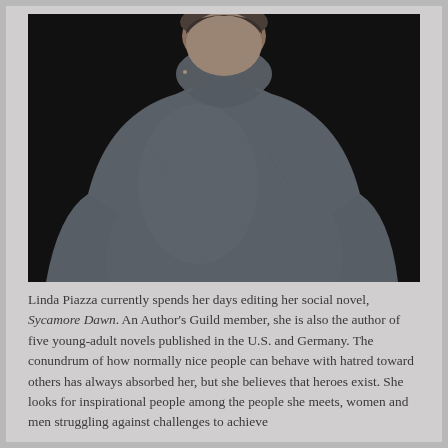[Figure (photo): Portrait photograph of Linda Piazza, a woman wearing a grey heather turtleneck sweater, photographed against a dark/black background. The image is cropped at the waist. She appears to be looking slightly to the side.]
Linda Piazza currently spends her days editing her social novel, Sycamore Dawn. An Author's Guild member, she is also the author of five young-adult novels published in the U.S. and Germany. The conundrum of how normally nice people can behave with hatred toward others has always absorbed her, but she believes that heroes exist. She looks for inspirational people among the people she meets, women and men struggling against challenges to achieve